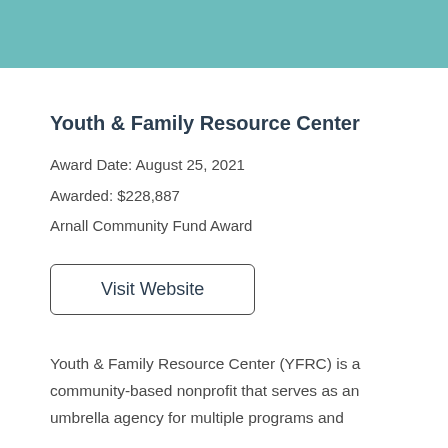Youth & Family Resource Center
Award Date: August 25, 2021
Awarded: $228,887
Arnall Community Fund Award
Visit Website
Youth & Family Resource Center (YFRC) is a community-based nonprofit that serves as an umbrella agency for multiple programs and